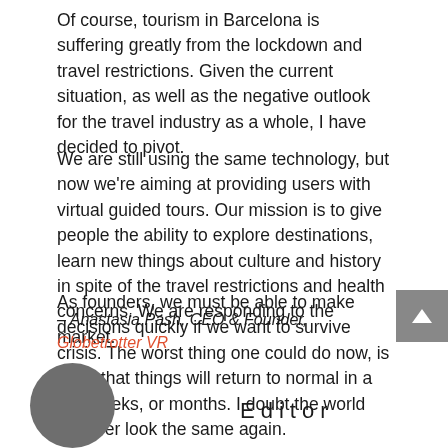Of course, tourism in Barcelona is suffering greatly from the lockdown and travel restrictions. Given the current situation, as well as the negative outlook for the travel industry as a whole, I have decided to pivot.
We are still using the same technology, but now we're aiming at providing users with virtual guided tours. Our mission is to give people the ability to explore destinations, learn new things about culture and history in spite of the travel restrictions and health concerns. We are responding to the market.
As founders, we must be able to make decisions quickly if we want to survive crisis. The worst thing one could do now, is hope that things will return to normal in a few weeks, or months. I doubt the world will ever look the same again.
– Anastasia Pash, CEO & Founder, Globetrotter VR
Editor